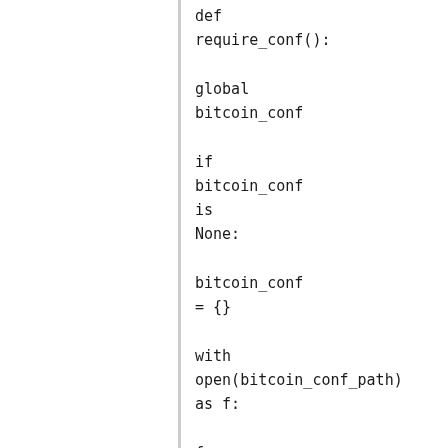def require_conf():

    global bitcoin_conf

    if bitcoin_conf is None:

        bitcoin_conf = {}

        with open(bitcoin_conf_path) as f:

            for line in f:

                line = line.split('#', 1)[0].rstrip()

                if not line: